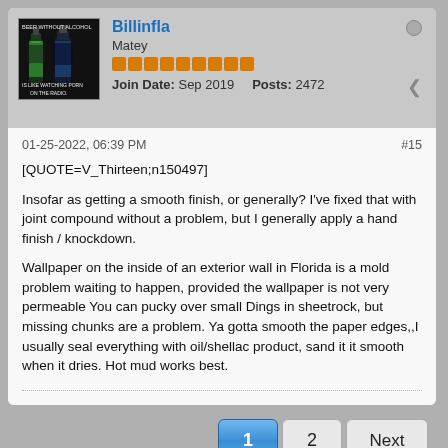Billinfla | Matey | Join Date: Sep 2019 | Posts: 2472
01-25-2022, 06:39 PM
#15
[QUOTE=V_Thirteen;n150497]

Insofar as getting a smooth finish, or generally? I've fixed that with joint compound without a problem, but I generally apply a hand finish / knockdown.

Wallpaper on the inside of an exterior wall in Florida is a mold problem waiting to happen, provided the wallpaper is not very permeable You can pucky over small Dings in sheetrock, but missing chunks are a problem. Ya gotta smooth the paper edges,,I usually seal everything with oil/shellac product, sand it it smooth when it dries. Hot mud works best.
1  2  Next